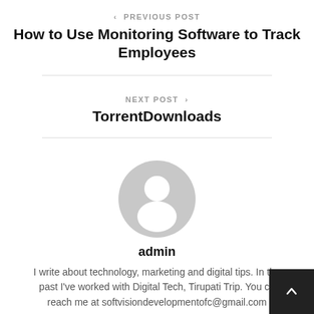‹ PREVIOUS POST
How to Use Monitoring Software to Track Employees
NEXT POST ›
TorrentDownloads
[Figure (illustration): Generic user avatar icon — grey circle with white silhouette of a person]
admin
I write about technology, marketing and digital tips. In the past I've worked with Digital Tech, Tirupati Trip. You can reach me at softvisiondevelopmentofc@gmail.com